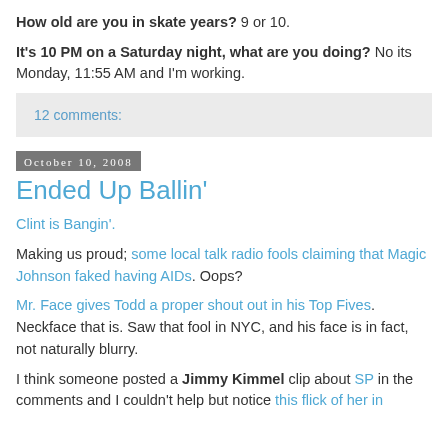How old are you in skate years? 9 or 10.
It's 10 PM on a Saturday night, what are you doing? No its Monday, 11:55 AM and I'm working.
12 comments:
October 10, 2008
Ended Up Ballin'
Clint is Bangin'.
Making us proud; some local talk radio fools claiming that Magic Johnson faked having AIDs. Oops?
Mr. Face gives Todd a proper shout out in his Top Fives. Neckface that is. Saw that fool in NYC, and his face is in fact, not naturally blurry.
I think someone posted a Jimmy Kimmel clip about SP in the comments and I couldn't help but notice this flick of her in